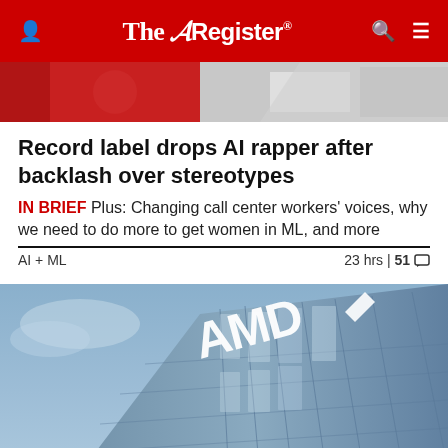The Register
[Figure (photo): Top portion of article hero image showing partial view with red and grey tones]
Record label drops AI rapper after backlash over stereotypes
IN BRIEF Plus: Changing call center workers' voices, why we need to do more to get women in ML, and more
AI + ML   23 hrs | 51 comments
[Figure (photo): AMD corporate building photographed from below at an angle, showing the AMD logo on a glass skyscraper facade against a blue sky]